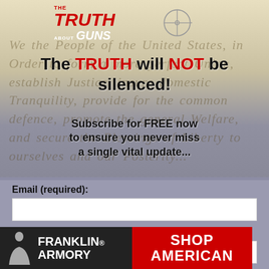[Figure (logo): The Truth About Guns logo with crosshair scope graphic and Constitution background]
The TRUTH will NOT be silenced!
Subscribe for FREE now to ensure you never miss a single vital update...
Email (required):
First Name:
[Figure (logo): Franklin Armory banner advertisement - Shop American]